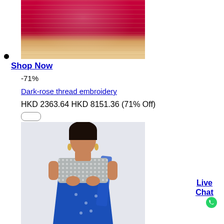[Figure (photo): Close-up of a red and gold Indian lehenga with embroidery detail]
Shop Now
-71%
Dark-rose thread embroidery
HKD 2363.64 HKD 8151.36 (71% Off)
[Figure (photo): Woman wearing a blue lehenga with silver sequin blouse]
Live Chat